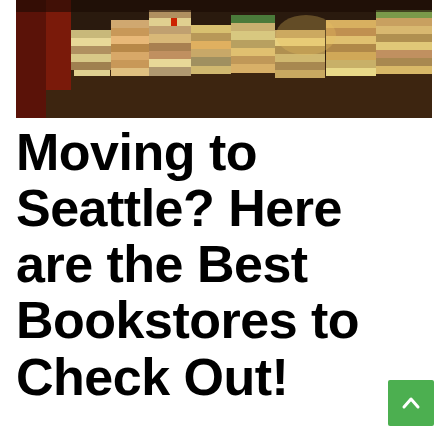[Figure (photo): Overhead view of many stacks of books piled on a table with a person in a red sweater partially visible at the left edge.]
Moving to Seattle? Here are the Best Bookstores to Check Out!